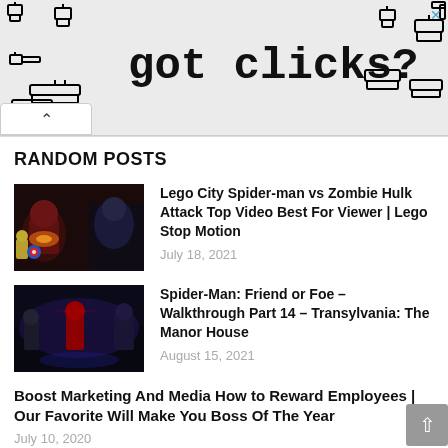[Figure (illustration): Advertisement banner with pixel-art cursor/hand icons and 'got clicks?' text in monospace font]
RANDOM POSTS
[Figure (photo): Thumbnail image of Lego City Spider-man vs Zombie Hulk scene]
Lego City Spider-man vs Zombie Hulk Attack Top Video Best For Viewer | Lego Stop Motion
July 18, 2021
[Figure (photo): Thumbnail image of Spider-Man: Friend or Foe game scene]
Spider-Man: Friend or Foe – Walkthrough Part 14 – Transylvania: The Manor House
August 15, 2021
Boost Marketing And Media How to Reward Employees | Our Favorite Will Make You Boss Of The Year
July 10, 2020